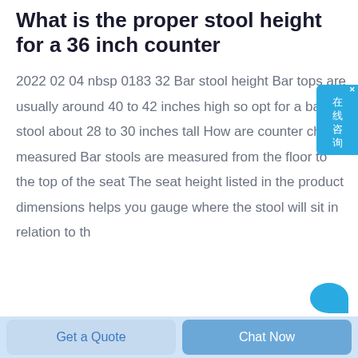What is the proper stool height for a 36 inch counter
2022 02 04 nbsp 0183 32 Bar stool height Bar tops are usually around 40 to 42 inches high so opt for a bar stool about 28 to 30 inches tall How are counter chairs measured Bar stools are measured from the floor to the top of the seat The seat height listed in the product dimensions helps you gauge where the stool will sit in relation to the
Get a Quote   Chat Now